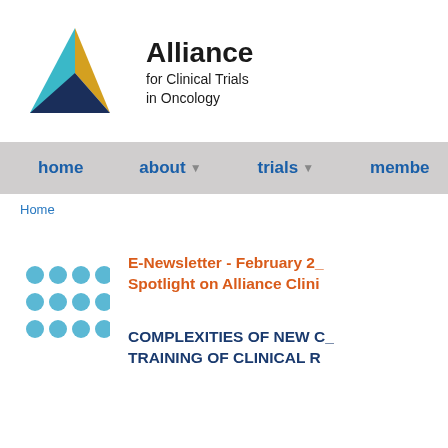[Figure (logo): Alliance for Clinical Trials in Oncology logo with triangle icon in blue, gold, and teal colors]
home  about  trials  membe
Home
[Figure (illustration): Grid of teal/blue dots icon]
E-Newsletter - February 2_ Spotlight on Alliance Clini
COMPLEXITIES OF NEW C_ TRAINING OF CLINICAL R